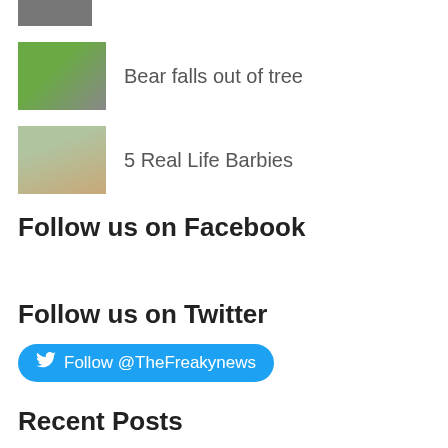[Figure (photo): Partial thumbnail image at top of page, cropped view]
[Figure (photo): Thumbnail image of a bear in a tree]
Bear falls out of tree
[Figure (photo): Thumbnail image of a woman resembling a Barbie doll]
5 Real Life Barbies
Follow us on Facebook
Follow us on Twitter
Follow @TheFreakynews
Recent Posts
Star Jelly Mystery